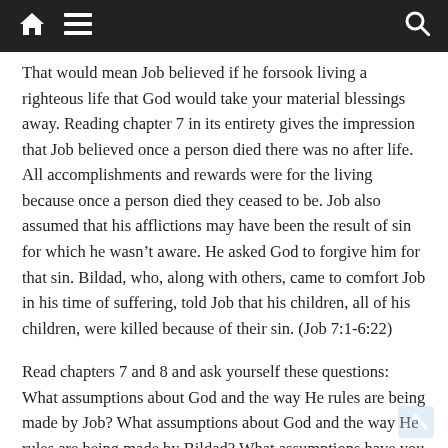Navigation bar with home, menu, and search icons
That would mean Job believed if he forsook living a righteous life that God would take your material blessings away. Reading chapter 7 in its entirety gives the impression that Job believed once a person died there was no after life. All accomplishments and rewards were for the living because once a person died they ceased to be. Job also assumed that his afflictions may have been the result of sin for which he wasn't aware. He asked God to forgive him for that sin. Bildad, who, along with others, came to comfort Job in his time of suffering, told Job that his children, all of his children, were killed because of their sin. (Job 7:1-6:22)
Read chapters 7 and 8 and ask yourself these questions: What assumptions about God and the way He rules are being made by Job? What assumptions about God and the way He rules are being made by Bildad? What assumptions have you made about God and the way He rules in your life?